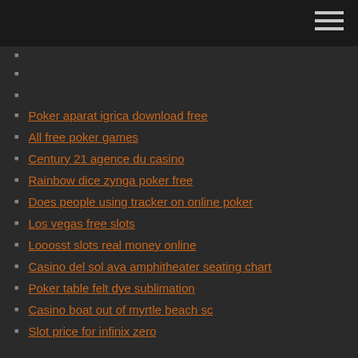Poker aparat igrica download free
All free poker games
Century 21 agence du casino
Rainbow dice zynga poker free
Does people using tracker on online poker
Los vegas free slots
Looosst slots real money online
Casino del sol ava amphitheater seating chart
Poker table felt dye sublimation
Casino boat out of myrtle beach sc
Slot price for infinix zero